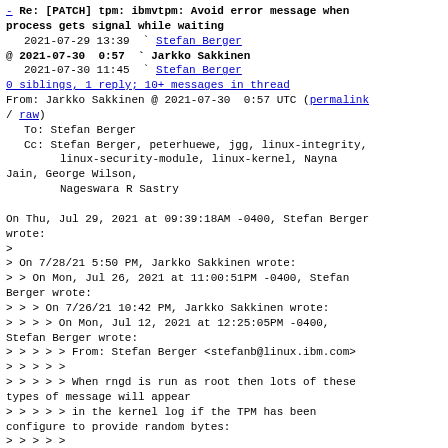- Re: [PATCH] tpm: ibmvtpm: Avoid error message when process gets signal while waiting
  2021-07-29 13:39  ` Stefan Berger
@ 2021-07-30  0:57  ` Jarkko Sakkinen
  2021-07-30 11:45  ` Stefan Berger
  0 siblings, 1 reply; 10+ messages in thread
From: Jarkko Sakkinen @ 2021-07-30  0:57 UTC (permalink / raw)
  To: Stefan Berger
  Cc: Stefan Berger, peterhuewe, jgg, linux-integrity,
      linux-security-module, linux-kernel, Nayna Jain, George Wilson,
      Nageswara R Sastry

On Thu, Jul 29, 2021 at 09:39:18AM -0400, Stefan Berger wrote:
>
> On 7/28/21 5:50 PM, Jarkko Sakkinen wrote:
> > On Mon, Jul 26, 2021 at 11:00:51PM -0400, Stefan Berger wrote:
> > > On 7/26/21 10:42 PM, Jarkko Sakkinen wrote:
> > > > On Mon, Jul 12, 2021 at 12:25:05PM -0400, Stefan Berger wrote:
> > > > > From: Stefan Berger <stefanb@linux.ibm.com>
> > > > >
> > > > > When rngd is run as root then lots of these types of message will appear
> > > > > in the kernel log if the TPM has been configure to provide random bytes:
> > > > >